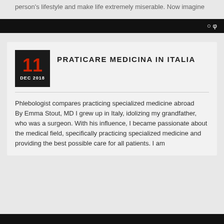person's lifestyle and make life extremely miserable. Now imagine
PRATICARE MEDICINA IN ITALIA
11 DEC 2018
Phlebologist compares practicing specialized medicine abroad    By Emma Stout, MD I grew up in Italy, idolizing my grandfather, who was a surgeon. With his influence, I became passionate about the medical field, specifically practicing specialized medicine and providing the best possible care for all patients. I am